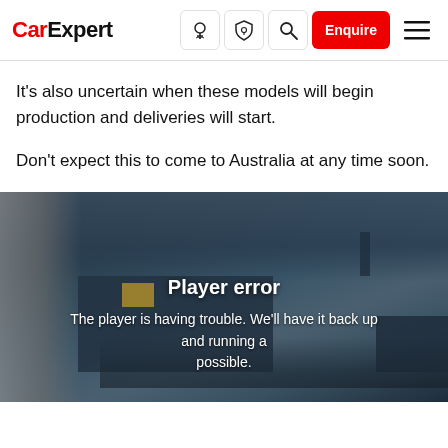CarExpert — navigation bar with logo, icons, Enquire button, and hamburger menu
It's also uncertain when these models will begin production and deliveries will start.
Don't expect this to come to Australia at any time soon.
[Figure (screenshot): Video player showing an error state. Background shows a dark evening scene with a building and a truck/vehicle. Overlay text reads 'Player error' and 'The player is having trouble. We'll have it back up and running as soon as possible.']